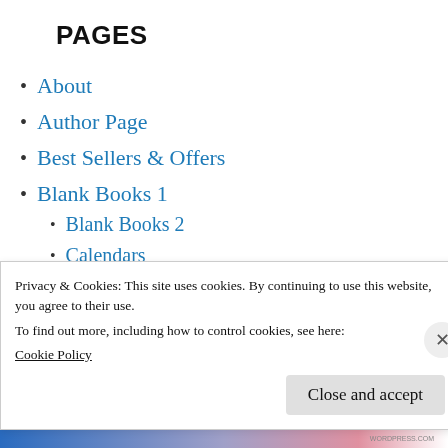PAGES
About
Author Page
Best Sellers & Offers
Blank Books 1
Blank Books 2
Calendars
Contact us
How to Order
Testimonials
Privacy & Cookies: This site uses cookies. By continuing to use this website, you agree to their use.
To find out more, including how to control cookies, see here:
Cookie Policy
Close and accept